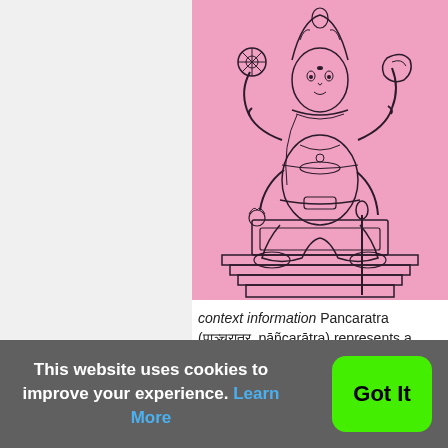[Figure (illustration): An illustration of a Hindu deity (Narayana/Vishnu) seated in lotus position on a stepped platform, with four arms holding a chakra (wheel), conch shell, lotus flower, and mace. The figure is depicted with ornate jewelry and clothing, drawn in black line art on a pink background.]
context information Pancaratra (पाञ्चरात्र, pāñcarātra) represents a tradition of Hinduism where Narayana is revered
This website uses cookies to improve your experience. Learn More